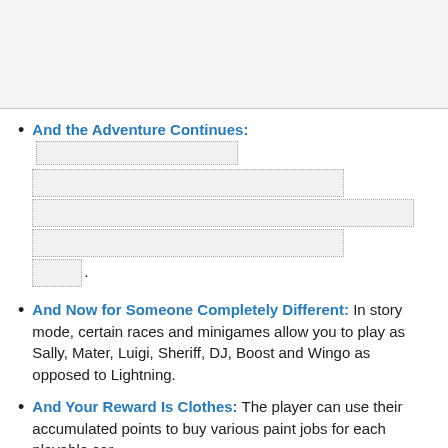[Figure (other): Gray header area at top of page, likely a cropped screenshot or navigation bar region]
And the Adventure Continues: [dotted input fields]
And Now for Someone Completely Different: In story mode, certain races and minigames allow you to play as Sally, Mater, Luigi, Sheriff, DJ, Boost and Wingo as opposed to Lightning.
And Your Reward Is Clothes: The player can use their accumulated points to buy various paint jobs for each playable car.
Annoying Chatter: During the Piston Cup race, Darrell...